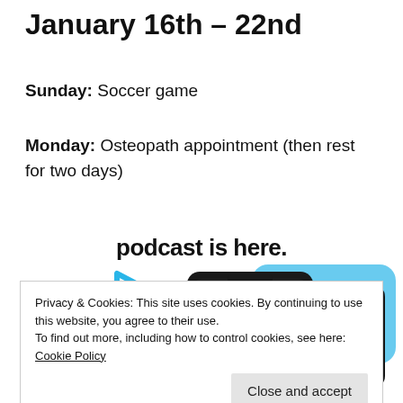January 16th – 22nd
Sunday: Soccer game
Monday: Osteopath appointment (then rest for two days)
[Figure (screenshot): Partial screenshot of a podcast app promotional image showing 'podcast is here.' text and two dark-mode phone screens displaying 'Up Next' queue with 'The Making of Boris Johnson' podcast]
Privacy & Cookies: This site uses cookies. By continuing to use this website, you agree to their use.
To find out more, including how to control cookies, see here: Cookie Policy
Close and accept